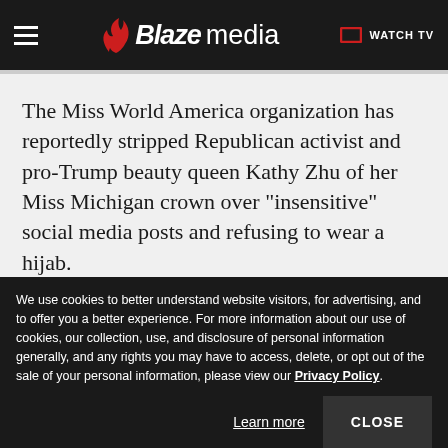Blaze media | WATCH TV
The Miss World America organization has reportedly stripped Republican activist and pro-Trump beauty queen Kathy Zhu of her Miss Michigan crown over "insensitive" social media posts and refusing to wear a hijab.

Zhu, a 20-year-old Chinese immigrant and vice
We use cookies to better understand website visitors, for advertising, and to offer you a better experience. For more information about our use of cookies, our collection, use, and disclosure of personal information generally, and any rights you may have to access, delete, or opt out of the sale of your personal information, please view our Privacy Policy.
Learn more
CLOSE